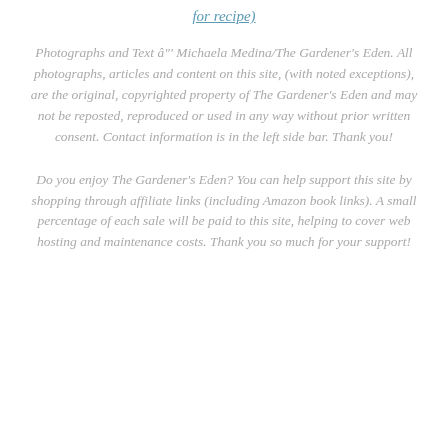for recipe)
Photographs and Text â“” Michaela Medina/The Gardener's Eden. All photographs, articles and content on this site, (with noted exceptions), are the original, copyrighted property of The Gardener's Eden and may not be reposted, reproduced or used in any way without prior written consent. Contact information is in the left side bar. Thank you!
Do you enjoy The Gardener's Eden? You can help support this site by shopping through affiliate links (including Amazon book links). A small percentage of each sale will be paid to this site, helping to cover web hosting and maintenance costs. Thank you so much for your support!